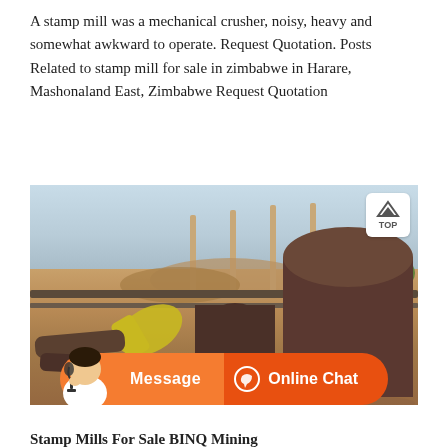A stamp mill was a mechanical crusher, noisy, heavy and somewhat awkward to operate. Request Quotation. Posts Related to stamp mill for sale in zimbabwe in Harare, Mashonaland East, Zimbabwe Request Quotation
[Figure (photo): Outdoor photo of stamp mill equipment and large cylindrical pipes/tubes lying on a dirt ground at a mining site in Zimbabwe, with equipment and mounds of earth in background. An orange chat bar with message and online chat buttons is overlaid at the bottom with a customer service person image.]
Stamp Mills For Sale BINQ Mining